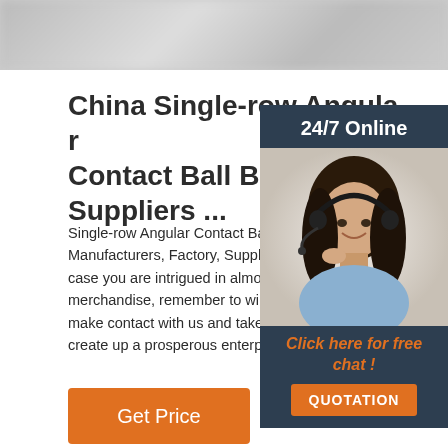[Figure (photo): Blurred background photo at the top of the page]
China Single-row Angular Contact Ball Bearing Suppliers ...
Single-row Angular Contact Ball Bearing Manufacturers, Factory, Suppliers From C... case you are intrigued in almost any of our merchandise, remember to will not hesitate make contact with us and take the initial s... create up a prosperous enterprise romanc...
[Figure (photo): Customer service representative with headset, smiling, with 24/7 Online label and Click here for free chat and QUOTATION button sidebar]
Get Price